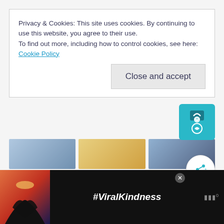Privacy & Cookies: This site uses cookies. By continuing to use this website, you agree to their use.
To find out more, including how to control cookies, see here: Cookie Policy
Close and accept
Related
[Figure (screenshot): Advertisement banner at bottom showing hands forming a heart shape against a sunset background with text #ViralKindness and a media logo]